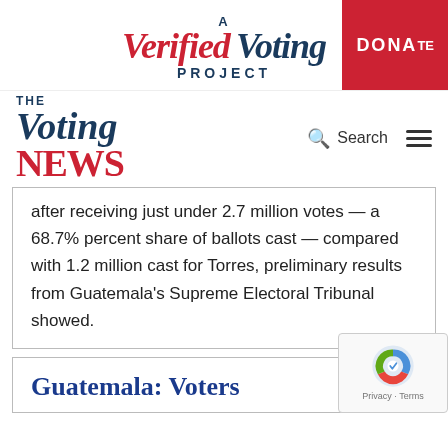[Figure (logo): A Verified Voting Project logo with red italic 'Verified' and navy 'Voting' text, and red DONATE button on right]
[Figure (logo): The Voting News logo with navy italic 'Voting' and red bold 'NEWS', with Search and hamburger menu on right]
after receiving just under 2.7 million votes — a 68.7% percent share of ballots cast — compared with 1.2 million cast for Torres, preliminary results from Guatemala's Supreme Electoral Tribunal showed.
Guatemala: Voters